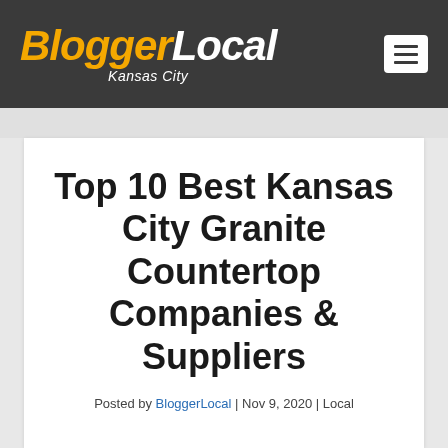BloggerLocal Kansas City
Top 10 Best Kansas City Granite Countertop Companies & Suppliers
Posted by BloggerLocal | Nov 9, 2020 | Local